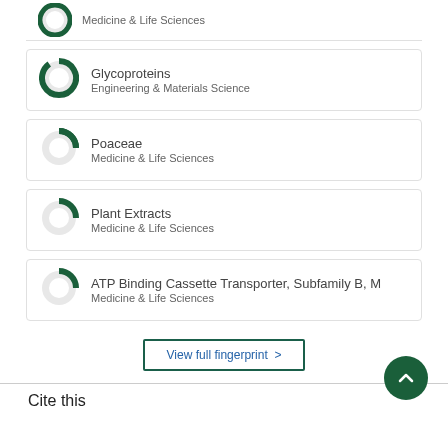Medicine & Life Sciences
Glycoproteins
Engineering & Materials Science
Poaceae
Medicine & Life Sciences
Plant Extracts
Medicine & Life Sciences
ATP Binding Cassette Transporter, Subfamily B, M
Medicine & Life Sciences
View full fingerprint >
Cite this